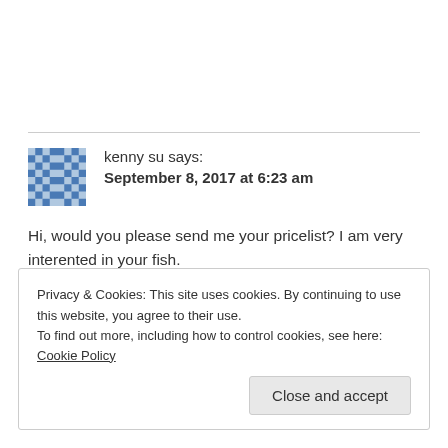kenny su says:
September 8, 2017 at 6:23 am
Hi, would you please send me your pricelist? I am very interented in your fish.
I am a distributor in Taiwan.
Thank you.
Reply
Privacy & Cookies: This site uses cookies. By continuing to use this website, you agree to their use.
To find out more, including how to control cookies, see here: Cookie Policy